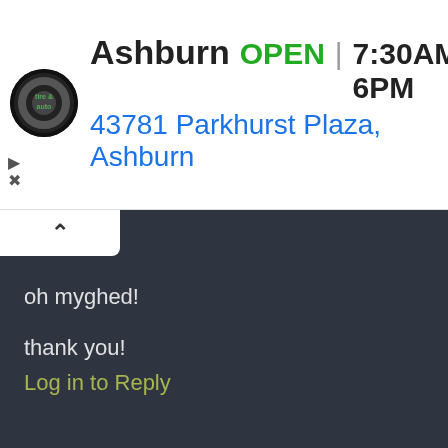[Figure (screenshot): Advertisement banner for Virginia Tire & Auto showing Ashburn location. Green OPEN badge, hours 7:30AM–6PM, address 43781 Parkhurst Plaza, Ashburn, with navigation icon.]
oh myghed!
thank you!
Log in to Reply